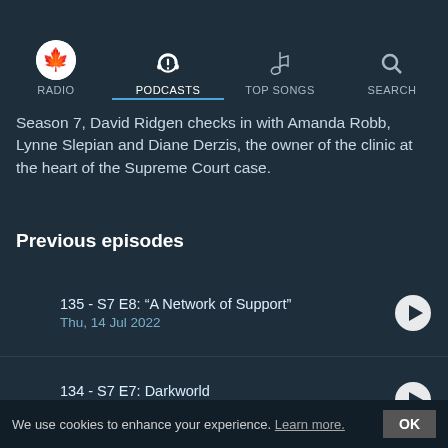RADIO | PODCASTS | TOP SONGS | SEARCH
Season 7, David Ridgen checks in with Amanda Robb, Lynne Slepian and Diane Derzis, the owner of the clinic at the heart of the Supreme Court case.
Previous episodes
135 - S7 E8: “A Network of Support”
Thu, 14 Jul 2022
134 - S7 E7: Darkworld
Tue, 14 Jun 2022
133 - S7 E6: Mississippi
Tue, 07 Jun 2022
We use cookies to enhance your experience. Learn more. OK